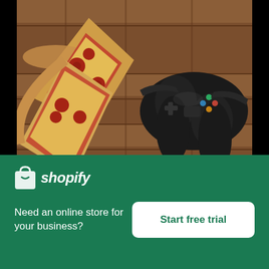[Figure (photo): Photo of pizza slices and a black game controller on a wooden slat surface]
Games And Pizza
High resolution download ↓
[Figure (logo): Shopify logo with shopping bag icon]
Need an online store for your business?
Start free trial